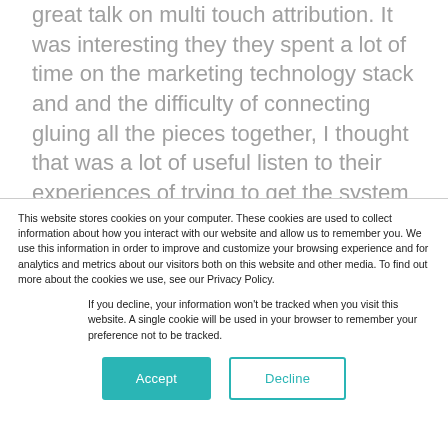great talk on multi touch attribution. It was interesting they they spent a lot of time on the marketing technology stack and and the difficulty of connecting gluing all the pieces together, I thought that was a lot of useful listen to their experiences of trying to get the system to talk to each other. And and they
This website stores cookies on your computer. These cookies are used to collect information about how you interact with our website and allow us to remember you. We use this information in order to improve and customize your browsing experience and for analytics and metrics about our visitors both on this website and other media. To find out more about the cookies we use, see our Privacy Policy.
If you decline, your information won’t be tracked when you visit this website. A single cookie will be used in your browser to remember your preference not to be tracked.